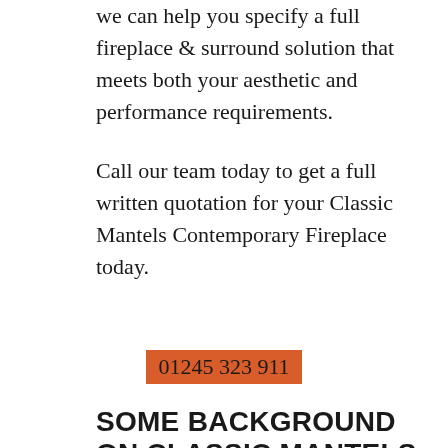we can help you specify a full fireplace & surround solution that meets both your aesthetic and performance requirements.
Call our team today to get a full written quotation for your Classic Mantels Contemporary Fireplace today.
01245 323 911
SOME BACKGROUND ON CLASSIC MANTELS CONTEMPORARY FIREPLACES
Classic Mantels are one of the most well known and popular Fireplace